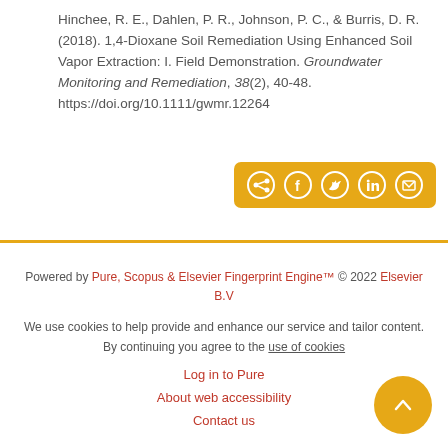Hinchee, R. E., Dahlen, P. R., Johnson, P. C., & Burris, D. R. (2018). 1,4-Dioxane Soil Remediation Using Enhanced Soil Vapor Extraction: I. Field Demonstration. Groundwater Monitoring and Remediation, 38(2), 40-48. https://doi.org/10.1111/gwmr.12264
[Figure (other): Share bar with social media icons: share, Facebook, Twitter, LinkedIn, email on an orange/gold background]
Powered by Pure, Scopus & Elsevier Fingerprint Engine™ © 2022 Elsevier B.V
We use cookies to help provide and enhance our service and tailor content. By continuing you agree to the use of cookies
Log in to Pure
About web accessibility
Contact us